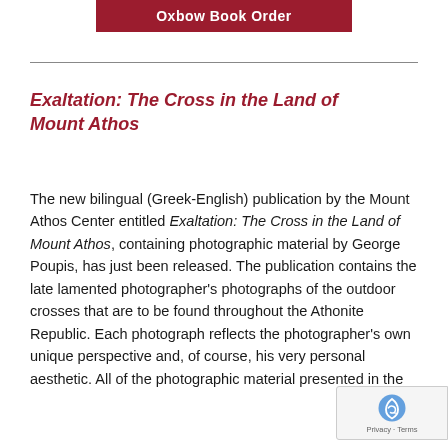Oxbow Book Order
Exaltation: The Cross in the Land of Mount Athos
The new bilingual (Greek-English) publication by the Mount Athos Center entitled Exaltation: The Cross in the Land of Mount Athos, containing photographic material by George Poupis, has just been released. The publication contains the late lamented photographer's photographs of the outdoor crosses that are to be found throughout the Athonite Republic. Each photograph reflects the photographer's own unique perspective and, of course, his very personal aesthetic. All of the photographic material presented in the